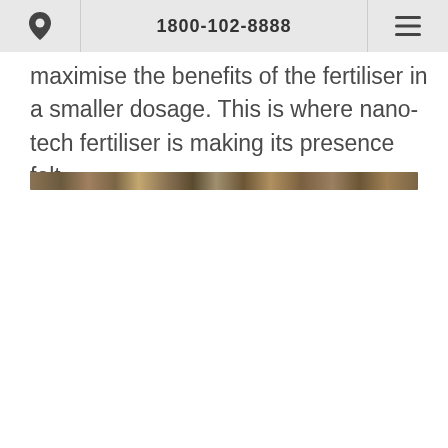1800-102-8888
maximise the benefits of the fertiliser in a smaller dosage. This is where nano-tech fertiliser is making its presence felt.
[Figure (photo): A narrow horizontal strip showing a close-up photograph of soil or earth texture]